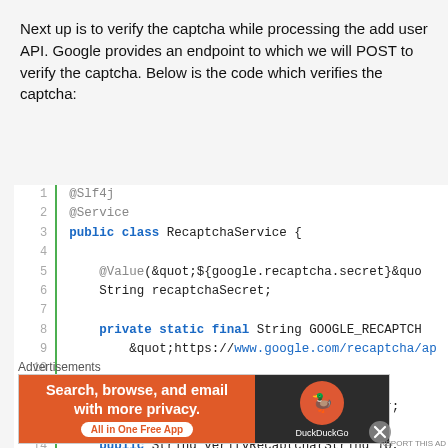Next up is to verify the captcha while processing the add user API. Google provides an endpoint to which we will POST to verify the captcha. Below is the code which verifies the captcha:
[Figure (screenshot): Java code snippet showing RecaptchaService class with annotations @Slf4j, @Service, @Value, @Autowired, and method verifyRecaptcha with lines numbered 1-17]
Advertisements
[Figure (photo): DuckDuckGo advertisement banner: orange left panel saying 'Search, browse, and email with more privacy. All in One Free App', dark right panel with DuckDuckGo logo]